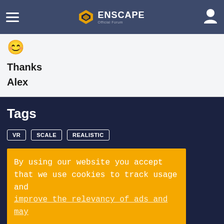Enscape Official Forum
[Figure (illustration): Smiley face emoji]
Thanks
Alex
Tags
VR
SCALE
REALISTIC
By using our website you accept that we use cookies to track usage and improve the relevancy of ads and may...
This site uses cookies. By continuing to browse this site, you are agreeing to our use of cookies.
More Details   Close